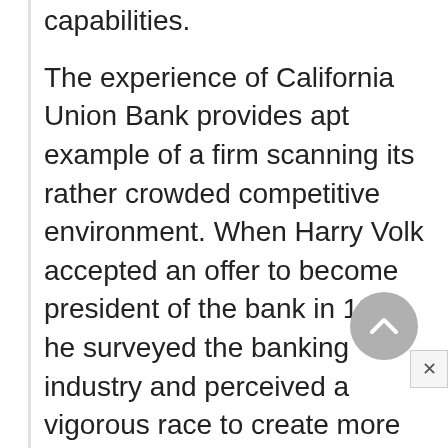capabilities.
The experience of California Union Bank provides apt example of a firm scanning its rather crowded competitive environment. When Harry Volk accepted an offer to become president of the bank in 1957, he surveyed the banking industry and perceived a vigorous race to create more retail or consumer-oriented branches. Rather than join the race, he decided to pursue a different strategy. Volk had observed that no